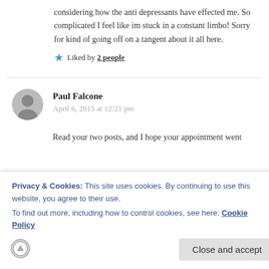considering how the anti depressants have effected me. So complicated I feel like im stuck in a constant limbo! Sorry for kind of going off on a tangent about it all here.
Liked by 2 people
Paul Falcone
April 6, 2015 at 12:21 pm
Read your two posts, and I hope your appointment went
Privacy & Cookies: This site uses cookies. By continuing to use this website, you agree to their use.
To find out more, including how to control cookies, see here: Cookie Policy
Close and accept